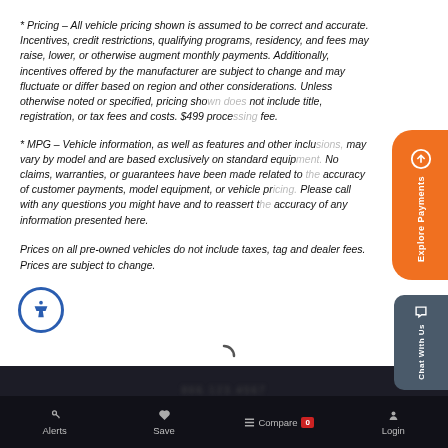* Pricing – All vehicle pricing shown is assumed to be correct and accurate. Incentives, credit restrictions, qualifying programs, residency, and fees may raise, lower, or otherwise augment monthly payments. Additionally, incentives offered by the manufacturer are subject to change and may fluctuate or differ based on region and other considerations. Unless otherwise noted or specified, pricing shown does not include title, registration, or tax fees and costs. $499 processing fee.
* MPG – Vehicle information, as well as features and other inclusions, may vary by model and are based exclusively on standard equipment. No claims, warranties, or guarantees have been made related to the accuracy of customer payments, model equipment, or vehicle pricing. Please call with any questions you might have and to reassert the accuracy of any information presented here.
Prices on all pre-owned vehicles do not include taxes, tag and dealer fees. Prices are subject to change.
Alerts  Save  Compare 0  Login